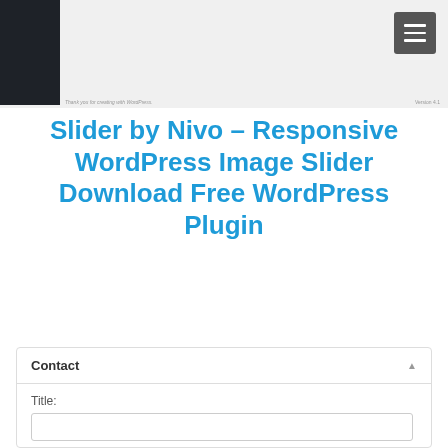[Figure (screenshot): Screenshot of a WordPress admin/site page with a dark sidebar on the left, a light gray content area, a hamburger menu button in the top-right corner, and a small footer bar at the bottom with italic text on the left and a version label on the right.]
Slider by Nivo – Responsive WordPress Image Slider Download Free WordPress Plugin
Contact
Title: